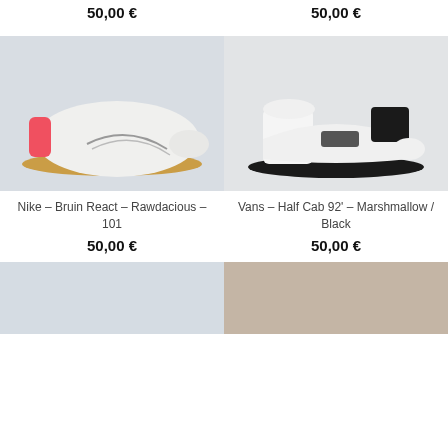50,00 €
50,00 €
[Figure (photo): Nike - Bruin React - Rawdacious - 101 sneaker, white with gum sole and pink heel tab, on grey background]
[Figure (photo): Vans - Half Cab 92' - Marshmallow / Black sneaker, white mid-top with black sole and laces, on grey background]
Nike – Bruin React – Rawdacious – 101
50,00 €
Vans – Half Cab 92' – Marshmallow / Black
50,00 €
[Figure (photo): Partially visible product image on grey/blue background, bottom of page]
[Figure (photo): Partially visible product image on tan/beige background, bottom of page]